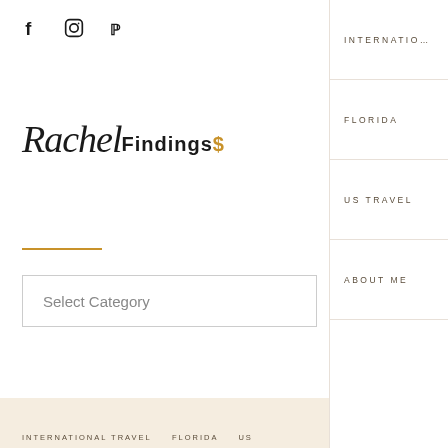f  Instagram  Pinterest
Rachel Findings
INTERNATIONAL
FLORIDA
US TRAVEL
ABOUT ME
Select Category
INTERNATIONAL TRAVEL   FLORIDA   US